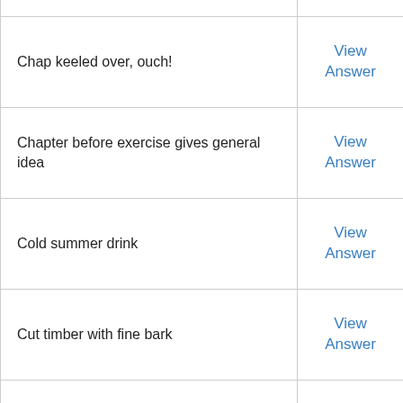| Clue |  |
| --- | --- |
| Chap keeled over, ouch! | View Answer |
| Chapter before exercise gives general idea | View Answer |
| Cold summer drink | View Answer |
| Cut timber with fine bark | View Answer |
| Dangerously crossing monarch after judge's vote in favour of law change | View Answer |
| Daughter finished the port | View Answer |
| Delay girl's return | View Answer |
|  |  |